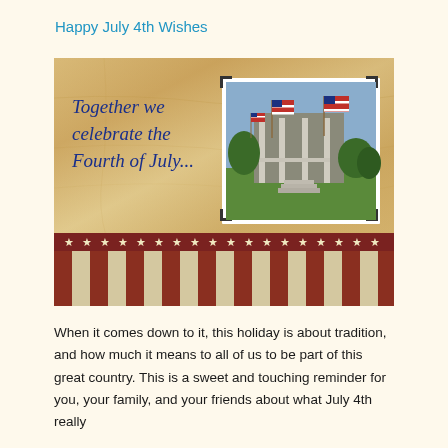Happy July 4th Wishes
[Figure (illustration): Fourth of July greeting card with parchment background showing cursive text 'Together we celebrate the Fourth of July...' on the left, a photo inset of a house decorated with American flags on the right, and a patriotic red and white stripes with stars banner along the bottom.]
When it comes down to it, this holiday is about tradition, and how much it means to all of us to be part of this great country. This is a sweet and touching reminder for you, your family, and your friends about what July 4th really